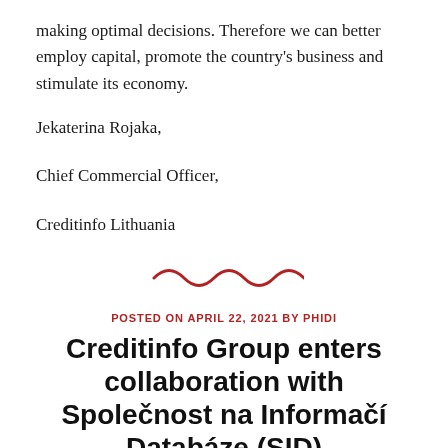making optimal decisions. Therefore we can better employ capital, promote the country's business and stimulate its economy.
Jekaterina Rojaka,
Chief Commercial Officer,
Creditinfo Lithuania
[Figure (illustration): Decorative wavy red divider line]
POSTED ON APRIL 22, 2021 BY PHIDI
Creditinfo Group enters collaboration with Společnost na Informačí Databáze (SID)